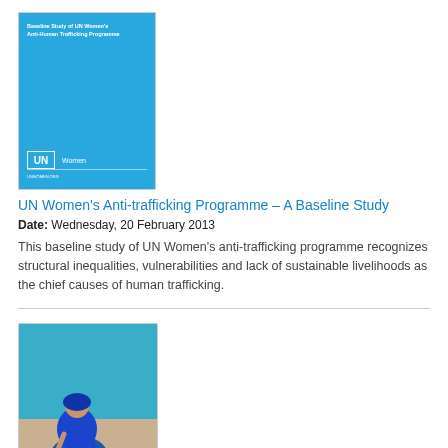[Figure (photo): Blue cover of UN Women's Anti-trafficking Programme Baseline Study report]
UN Women's Anti-trafficking Programme – A Baseline Study
Date: Wednesday, 20 February 2013
This baseline study of UN Women's anti-trafficking programme recognizes structural inequalities, vulnerabilities and lack of sustainable livelihoods as the chief causes of human trafficking.
[Figure (photo): Photo of a woman in blue traditional clothing crouching near a wall, working on the ground]
Home-based Workers – A Baseline Study
Date: Friday, 1 February 2013